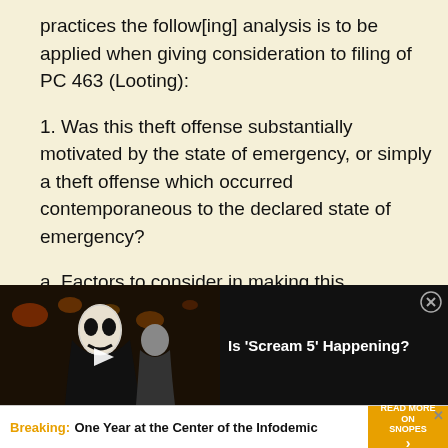practices the follow[ing] analysis is to be applied when giving consideration to filing of PC 463 (Looting):
1. Was this theft offense substantially motivated by the state of emergency, or simply a theft offense which occurred contemporaneous to the declared state of emergency?
a. Factors to consider in making this
[Figure (screenshot): Video overlay showing a person in a Ghostface Halloween mask and hooded outfit in a city street setting, with a play button overlay. Title reads: Is 'Scream 5' Happening? with a close button.]
[Figure (screenshot): Advertisement banner: 'Breaking: One Year at the Center of the Infodemic' with a 'READ MORE ON SNOPES' call-to-action button in yellow.]